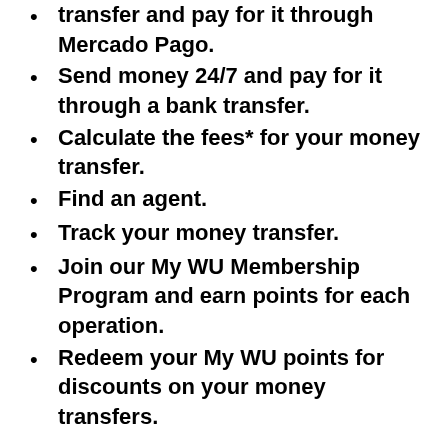transfer and pay for it through Mercado Pago.
Send money 24/7 and pay for it through a bank transfer.
Calculate the fees* for your money transfer.
Find an agent.
Track your money transfer.
Join our My WU Membership Program and earn points for each operation.
Redeem your My WU points for discounts on your money transfers.
Download the app now
[Figure (logo): Two app store download badge icons (broken/placeholder images)]
*Western Union is Argentina's largest...